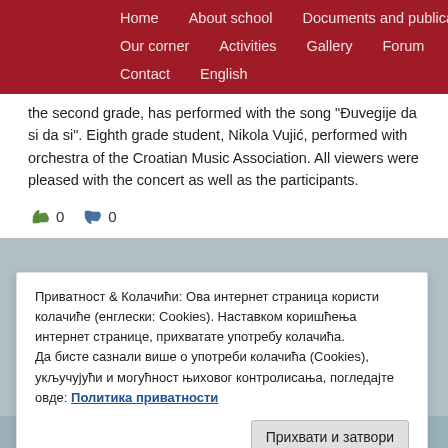Home   About school   Documents and publications   Our corner   Activities   Gallery   Forum   Contact   English
the second grade, has performed with the song "Đuvegije da si da si". Eighth grade student, Nikola Vujić, performed with orchestra of the Croatian Music Association. All viewers were pleased with the concert as well as the participants.
👍 0  👎 0
Приватност & Колачићи: Ова интернет страница користи колачиће (енглески: Cookies). Наставком коришћења интернет странице, прихватате употребу колачића.
Да бисте сазнали више о употреби колачића (Cookies), укључујући и могућност њиховог контролисања, погледајте овде: Политика приватности
Прихвати и затвори